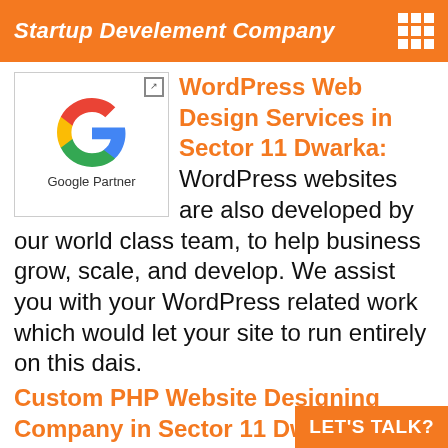Startup Develement Company
[Figure (logo): Google Partner logo with Google G icon and text 'Google Partner']
WordPress Web Design Services in Sector 11 Dwarka: WordPress websites are also developed by our world class team, to help business grow, scale, and develop. We assist you with your WordPress related work which would let your site to run entirely on this dais.
Custom PHP Website Designing Company in Sector 11 Dwarka: We afford customized websites for our valued clients. We use the PHP Web Development process to meet all your desires. We provide endwise Custom PHP web app development by means of your necessity within fixed timelines. If you need to find us in your area just search
LET'S TALK?